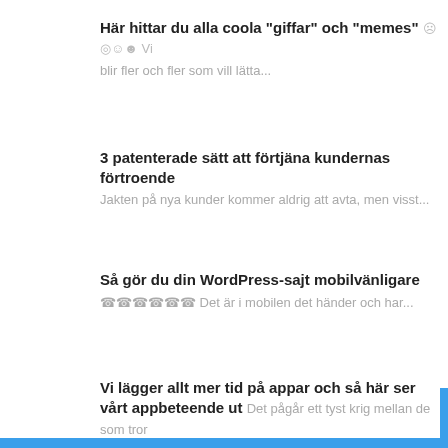Här hittar du alla coola "giffar" och "memes" ☹︎◎☺☻ Vi
blir fler och fler som vill lätta...
3 patenterade sätt att förtjäna kundernas förtroende
Jakten på nya kunder kommer aldrig att avta, men visst...
Så gör du din WordPress-sajt mobilvänligare
☎☎☎☎☎☎ Det är i mobilen det händer och har...
Vi lägger allt mer tid på appar och så här ser vårt appbeteende ut
Det pågår ett tyst krig mellan de som tror på appar och...